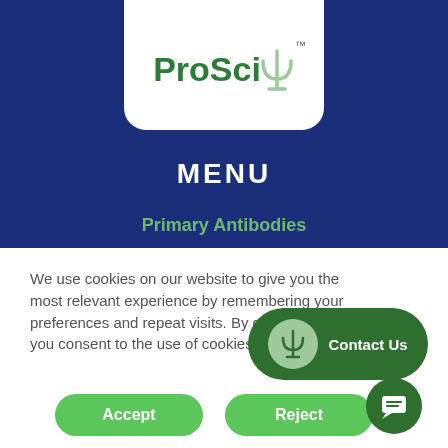[Figure (logo): ProSci Incorporated logo with psi symbol in green on white rounded card against dark blue background]
MENU
Primary Antibodies
We use cookies on our website to give you the most relevant experience by remembering your preferences and repeat visits. By clicking “Accept”, you consent to the use of cookies.
[Figure (other): Contact Us button with psi circle icon on dark green pill-shaped button]
Accept
Reject
[Figure (other): Dark green circular chat/message icon button]